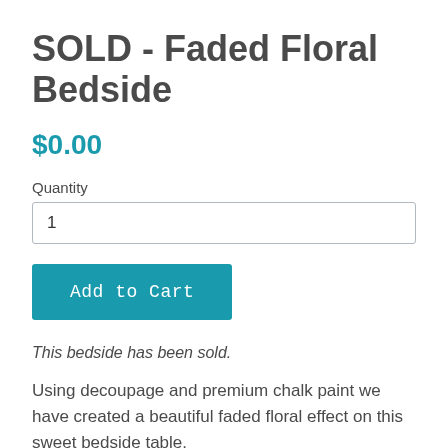SOLD - Faded Floral Bedside
$0.00
Quantity
1
Add to Cart
This bedside has been sold.
Using decoupage and premium chalk paint we have created a beautiful faded floral effect on this sweet bedside table.